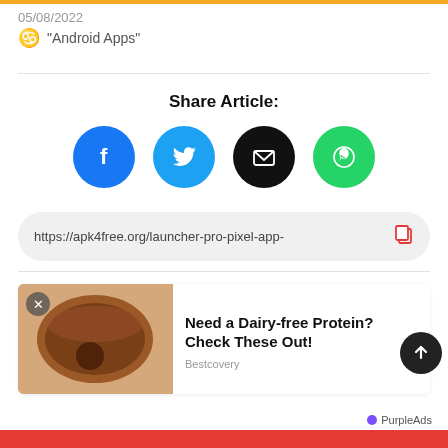05/08/2022
in "Android Apps"
Share Article:
[Figure (infographic): Four social share buttons: Facebook (blue circle with f), Twitter (cyan circle with bird), Email (black circle with envelope), WhatsApp (green circle with phone icon)]
https://apk4free.org/launcher-pro-pixel-app-
[Figure (photo): Advertisement image showing chocolate protein powder in a bowl with text 'Need a Dairy-free Protein? Check These Out!' and source label 'Bestcovery']